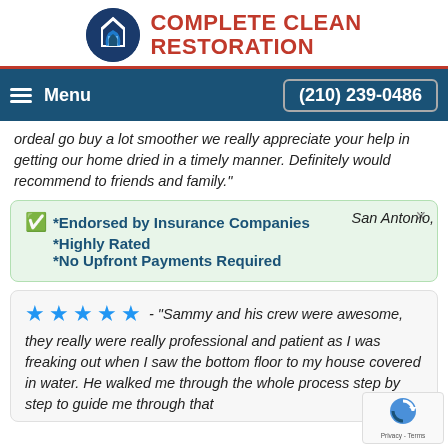[Figure (logo): Complete Clean Restoration logo with blue circle icon and red text]
Menu  (210) 239-0486
ordeal go buy a lot smoother we really appreciate your help in getting our home dried in a timely manner. Definitely would recommend to friends and family."
*Endorsed by Insurance Companies
*Highly Rated
*No Upfront Payments Required
San Antonio,
★★★★★ - "Sammy and his crew were awesome, they really were really professional and patient as I was freaking out when I saw the bottom floor to my house covered in water. He walked me through the whole process step by step to guide me through that